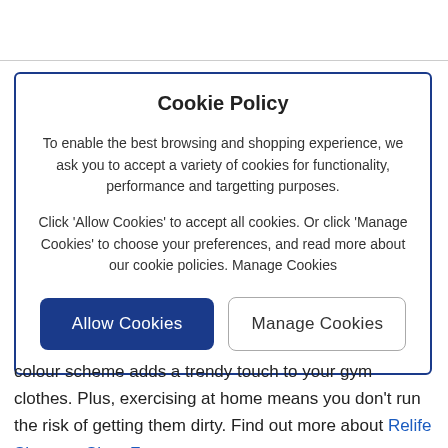Cookie Policy
To enable the best browsing and shopping experience, we ask you to accept a variety of cookies for functionality, performance and targetting purposes.
Click 'Allow Cookies' to accept all cookies. Or click 'Manage Cookies' to choose your preferences, and read more about our cookie policies. Manage Cookies
colour scheme adds a trendy touch to your gym clothes. Plus, exercising at home means you don't run the risk of getting them dirty. Find out more about Relife Shoes at Shoe Zone.